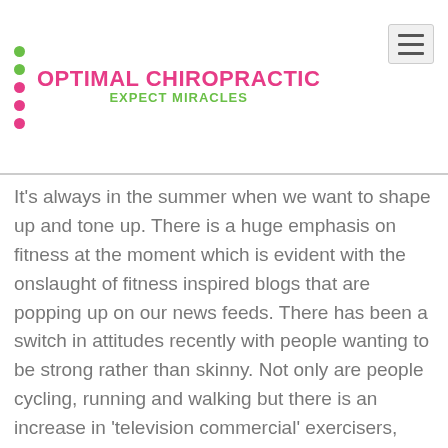OPTIMAL CHIROPRACTIC — EXPECT MIRACLES
It's always in the summer when we want to shape up and tone up. There is a huge emphasis on fitness at the moment which is evident with the onslaught of fitness inspired blogs that are popping up on our news feeds. There has been a switch in attitudes recently with people wanting to be strong rather than skinny. Not only are people cycling, running and walking but there is an increase in 'television commercial' exercisers, these are the people that are taking full advantage of the ad breaks in the middle of their favourite programmes to hop up and do push-ups, squats and even the wall sit is very popular amongst these people. It's a great way to exercise, it's free and you don't need any fancy equipment and it doesn't matter what your programme is, it the